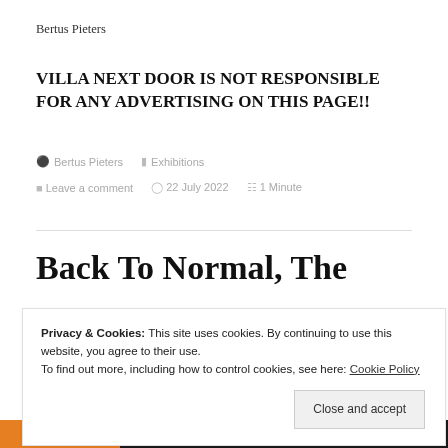Bertus Pieters
VILLA NEXT DOOR IS NOT RESPONSIBLE FOR ANY ADVERTISING ON THIS PAGE!!
Bertus Pieters   Exhibitions   Leave a comment   22 July 2022   1 Minute
Back To Normal, The
Privacy & Cookies: This site uses cookies. By continuing to use this website, you agree to their use.
To find out more, including how to control cookies, see here: Cookie Policy
Close and accept